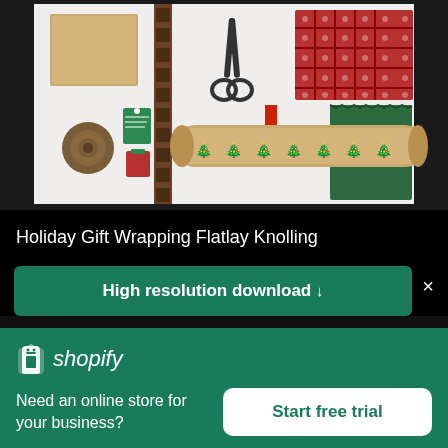[Figure (photo): Holiday gift wrapping flatlay knolling photo showing gift wrapping supplies including kraft paper box, twine roll, Christmas gift tags, scissors, plaid red wrapping paper, green fabric, and a kraft paper roll with Christmas tree pattern, arranged on a white background.]
Holiday Gift Wrapping Flatlay Knolling
High resolution download ↓
[Figure (logo): Shopify logo with shopping bag icon and italic shopify wordmark in white on green background]
Need an online store for your business?
Start free trial